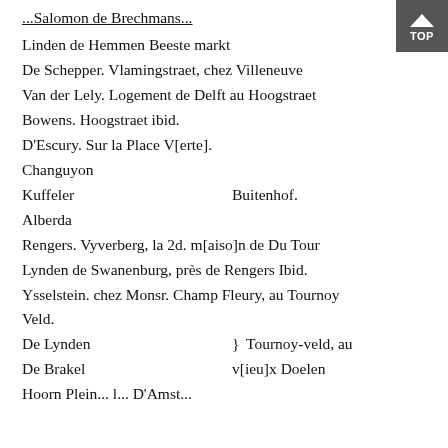...Salomon de Brechmans...
Linden de Hemmen Beeste markt
De Schepper. Vlamingstraet, chez Villeneuve
Van der Lely. Logement de Delft au Hoogstraet
Bowens. Hoogstraet ibid.
D'Escury. Sur la Place V[erte].
Changuyon
Kuffeler                    Buitenhof.
Alberda
Rengers. Vyverberg, la 2d. m[aiso]n de Du Tour
Lynden de Swanenburg, près de Rengers Ibid.
Ysselstein. chez Monsr. Champ Fleury, au Tournoy Veld.
De Lynden } Tournoy-veld, au v[ieu]x Doelen
De Brakel
Hoorn Plein... l... D'Amst...